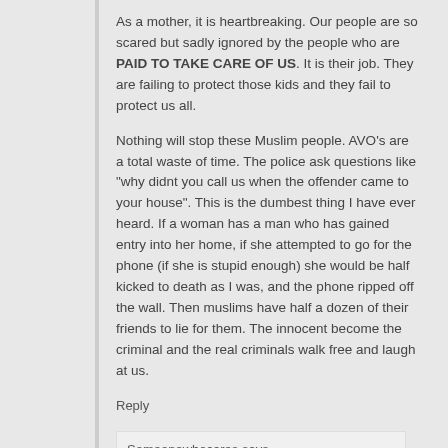As a mother, it is heartbreaking. Our people are so scared but sadly ignored by the people who are PAID TO TAKE CARE OF US. It is their job. They are failing to protect those kids and they fail to protect us all.
Nothing will stop these Muslim people. AVO's are a total waste of time. The police ask questions like "why didnt you call us when the offender came to your house". This is the dumbest thing I have ever heard. If a woman has a man who has gained entry into her home, if she attempted to go for the phone (if she is stupid enough) she would be half kicked to death as I was, and the phone ripped off the wall. Then muslims have half a dozen of their friends to lie for them. The innocent become the criminal and the real criminals walk free and laugh at us.
Reply
Someonewhocares says